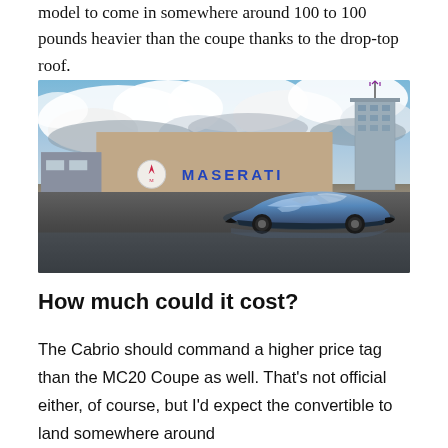model to come in somewhere around 100 to 100 pounds heavier than the coupe thanks to the drop-top roof.
[Figure (photo): A blue Maserati MC20 supercar parked in front of a large Maserati factory building with the Maserati logo and name on the wall, with a tall tower structure in the background and dramatic cloudy sky.]
How much could it cost?
The Cabrio should command a higher price tag than the MC20 Coupe as well. That's not official either, of course, but I'd expect the convertible to land somewhere around